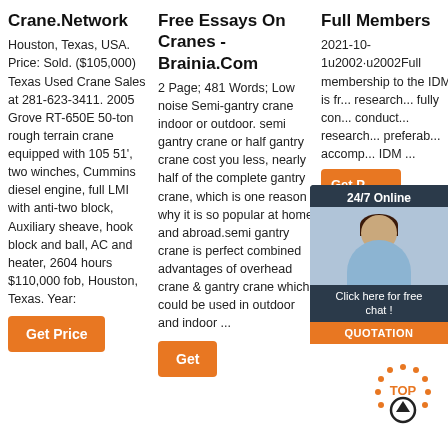Crane.Network
Houston, Texas, USA. Price: Sold. ($105,000) Texas Used Crane Sales at 281-623-3411. 2005 Grove RT-650E 50-ton rough terrain crane equipped with 105 51', two winches, Cummins diesel engine, full LMI with anti-two block, Auxiliary sheave, hook block and ball, AC and heater, 2604 hours $110,000 fob, Houston, Texas. Year:
[Figure (other): Orange 'Get Price' button]
Free Essays On Cranes - Brainia.Com
2 Page; 481 Words; Low noise Semi-gantry crane indoor or outdoor. semi gantry crane or half gantry crane cost you less, nearly half of the complete gantry crane, which is one reason why it is so popular at home and abroad.semi gantry crane is perfect combined advantages of overhead crane & gantry crane which could be used in outdoor and indoor ...
[Figure (other): Partially visible orange button at bottom of middle column]
Full Members
2021-10-1u2002·u2002Full membership to the IDM is fr... research... fully con... conduct... research... preferab... accomp... IDM ...
[Figure (other): Chat widget overlay with '24/7 Online' header, photo of woman with headset, 'Click here for free chat!' text, and orange QUOTATION button]
[Figure (other): Orange 'Get P...' partial button in third column]
[Figure (other): TOP scroll-to-top icon/button at bottom right]